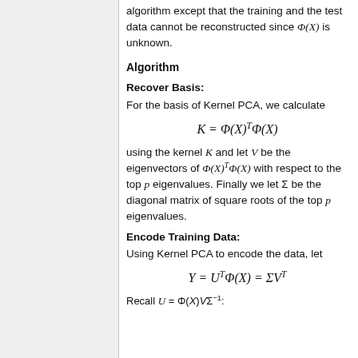algorithm except that the training and the test data cannot be reconstructed since Φ(X) is unknown.
Algorithm
Recover Basis:
For the basis of Kernel PCA, we calculate
using the kernel K and let V be the eigenvectors of Φ(X)^T Φ(X) with respect to the top p eigenvalues. Finally we let Σ be the diagonal matrix of square roots of the top p eigenvalues.
Encode Training Data:
Using Kernel PCA to encode the data, let
Recall U = Φ(X)VΣ^{-1}: